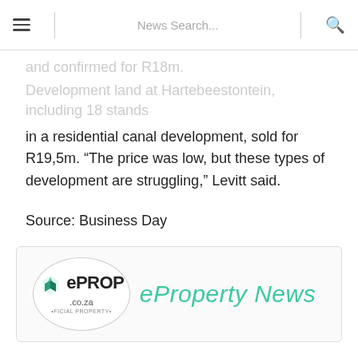News Search...
and confirmed for R18m. Development land at Hartebeestontein, including 18 stands in a residential canal development, sold for R19,5m. “The price was low, but these types of development are struggling,” Levitt said.
Source: Business Day
Publisher: I-Net Bridge
Source: I-Net Bridge
[Figure (logo): ePROP .co.za Official Property logo oval badge alongside eProperty News brand text in teal]